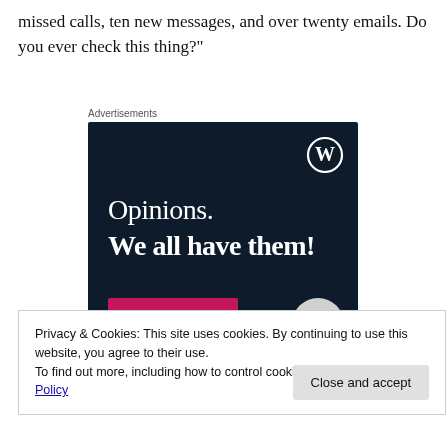missed calls, ten new messages, and over twenty emails. Do you ever check this thing?"
Advertisements
[Figure (illustration): WordPress.com advertisement banner with dark navy background showing WordPress logo (W in circle), text 'Opinions. We all have them!' with a pink button bar and grey circle at bottom.]
Privacy & Cookies: This site uses cookies. By continuing to use this website, you agree to their use.
To find out more, including how to control cookies, see here: Cookie Policy
Close and accept